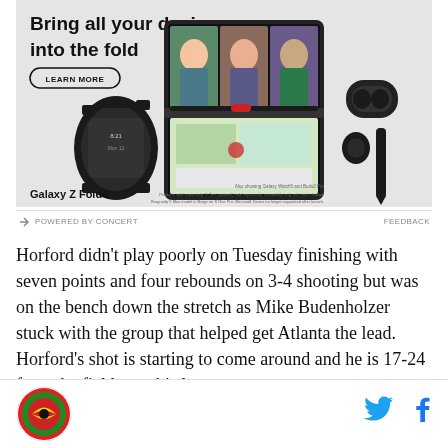[Figure (photo): Samsung Galaxy Z Fold4 advertisement showing a foldable phone with video call on screen, a smartwatch, earbuds, and stylus. Text reads 'Bring all your devices into the fold' with a 'Learn More' button.]
POWERED BY CONCERT   FEEDBACK
Horford didn't play poorly on Tuesday finishing with seven points and four rebounds on 3-4 shooting but was on the bench down the stretch as Mike Budenholzer stuck with the group that helped get Atlanta the lead. Horford's shot is starting to come around and he is 17-24 from the field over his last
[Figure (logo): Website logo - circular emblem with red and green design]
[Figure (logo): Twitter bird icon in blue]
[Figure (logo): Facebook f icon in blue]